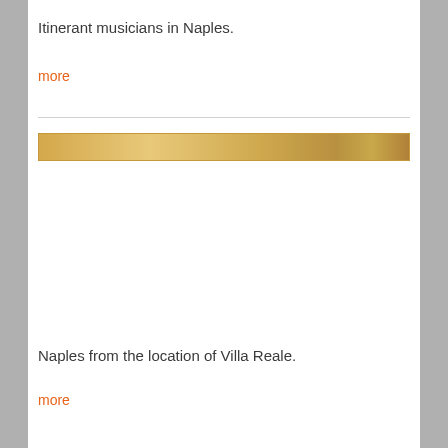Itinerant musicians in Naples.
more
[Figure (photo): A horizontal strip showing a wooden or sandstone-colored surface, possibly a fence or architectural element photographed in Naples.]
Naples from the location of Villa Reale.
more